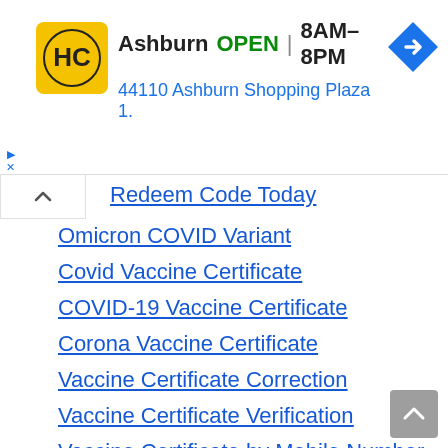[Figure (screenshot): Advertisement banner for HC store in Ashburn, showing logo, OPEN status, hours 8AM-8PM, address 44110 Ashburn Shopping Plaza 1., and a navigation arrow icon]
Redeem Code Today
Omicron COVID Variant
Covid Vaccine Certificate
COVID-19 Vaccine Certificate
Corona Vaccine Certificate
Vaccine Certificate Correction
Vaccine Certificate Verification
Vaccine Certificate by Mobile Number
Vaccine Certificate by Aadhar
Cowin App Download